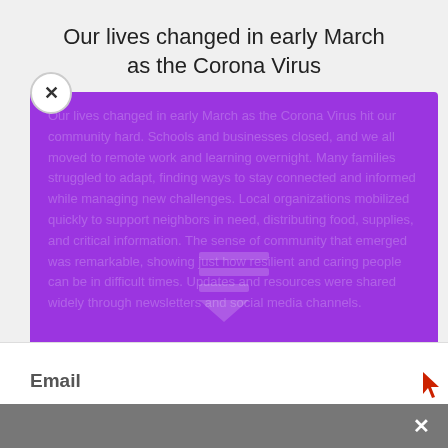Our lives changed in early March as the Corona Virus
[Figure (screenshot): Purple newsletter signup popup overlay with close button (X), faded background article text, a Substack-style logo watermark, and bold white text reading 'Join Our Community! Get updates via our newsletter.']
Join Our Community! Get updates via our newsletter.
Email